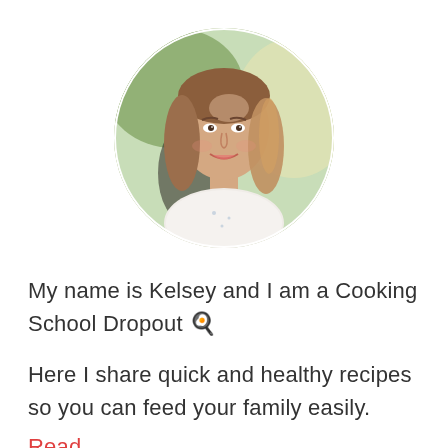[Figure (photo): Circular profile photo of a young woman with long brown/blonde hair, smiling, wearing a white floral top, with a blurred outdoor background.]
My name is Kelsey and I am a Cooking School Dropout 🍳
Here I share quick and healthy recipes so you can feed your family easily.
Read...